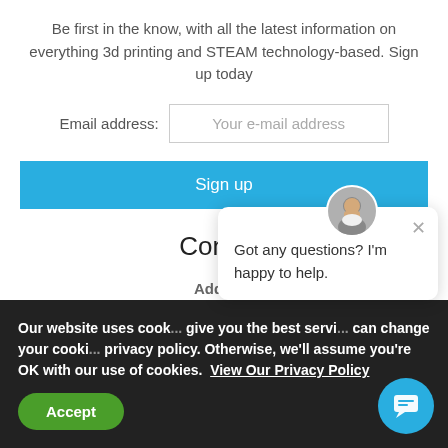Be first in the know, with all the latest information on everything 3d printing and STEAM technology-based. Sign up today
Email address: Your e-mail address
Sign up
Contact
Address
Strawberry Fields Digital H...
Our website uses cook... give you the best servi... can change your cooki... privacy policy. Otherwise, we'll assume you're OK with our use of cookies. View Our Privacy Policy
Accept
[Figure (photo): Chat popup with avatar photo of a bearded man and message: Got any questions? I'm happy to help.]